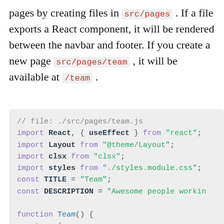pages by creating files in src/pages . If a file exports a React component, it will be rendered between the navbar and footer. If you create a new page src/pages/team , it will be available at /team .
// file: ./src/pages/team.js
import React, { useEffect } from "react";
import Layout from "@theme/Layout";
import clsx from "clsx";
import styles from "./styles.module.css";
const TITLE = "Team";
const DESCRIPTION = "Awesome people workin

function Team() {
  return (